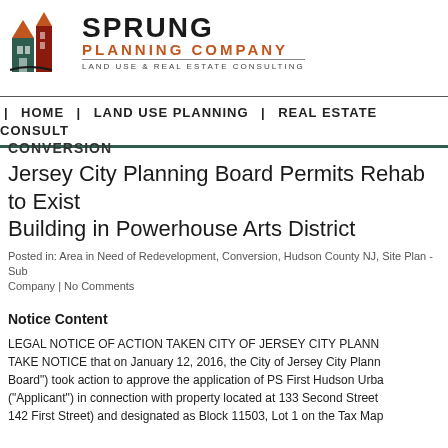[Figure (logo): Sprung Planning Company logo with house/building icon and text 'LAND USE & REAL ESTATE CONSULTING']
HOME | LAND USE PLANNING | REAL ESTATE CONSULT
CONVERSION
Jersey City Planning Board Permits Rehab to Existing Building in Powerhouse Arts District
Posted in: Area in Need of Redevelopment, Conversion, Hudson County NJ, Site Plan - Sub... Company | No Comments
Notice Content
LEGAL NOTICE OF ACTION TAKEN CITY OF JERSEY CITY PLANN... TAKE NOTICE that on January 12, 2016, the City of Jersey City Plann... Board") took action to approve the application of PS First Hudson Urba... ("Applicant") in connection with property located at 133 Second Street ... 142 First Street) and designated as Block 11503, Lot 1 on the Tax Map...